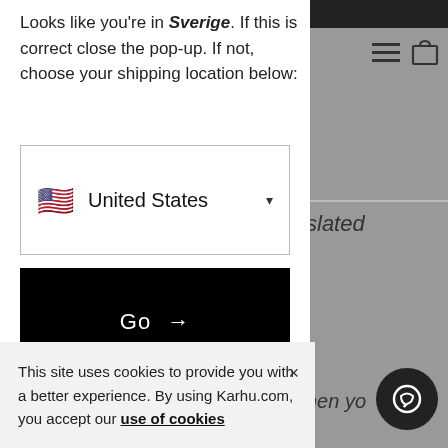Looks like you're in Sverige. If this is correct close the pop-up. If not, choose your shipping location below:
[Figure (screenshot): Dropdown selector showing US flag emoji and 'United States' with a dropdown arrow]
[Figure (screenshot): Black button with white text 'Go →']
Can't find your location? We might have a store in your area.
[Figure (screenshot): Cookie consent banner: 'This site uses cookies to provide you with a better experience. By using Karhu.com, you accept our use of cookies']
[Figure (screenshot): Right panel showing navigation icons (hamburger menu, bag icon), partial text 'slated' and 'hen yo', and chat button]